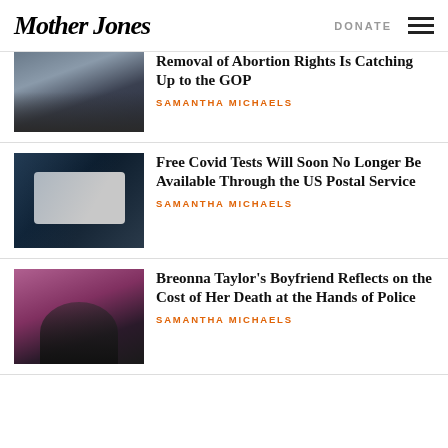Mother Jones | DONATE
[Figure (photo): Protest crowd outside building with raised fists]
Removal of Abortion Rights Is Catching Up to the GOP
SAMANTHA MICHAELS
[Figure (photo): Gloved hand holding a rapid Covid antigen test device]
Free Covid Tests Will Soon No Longer Be Available Through the US Postal Service
SAMANTHA MICHAELS
[Figure (photo): Man standing in front of a colorful portrait mural of Breonna Taylor]
Breonna Taylor’s Boyfriend Reflects on the Cost of Her Death at the Hands of Police
SAMANTHA MICHAELS